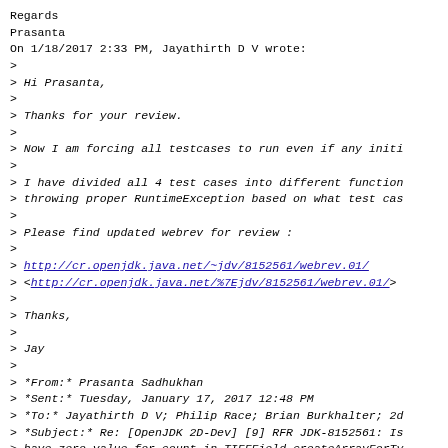Regards
Prasanta
On 1/18/2017 2:33 PM, Jayathirth D V wrote:
>
> Hi Prasanta,
>
> Thanks for your review.
>
> Now I am forcing all testcases to run even if any initi
>
> I have divided all 4 test cases into different function
> throwing proper RuntimeException based on what test cas
>
> Please find updated webrev for review :
>
> http://cr.openjdk.java.net/~jdv/8152561/webrev.01/
> <http://cr.openjdk.java.net/%7Ejdv/8152561/webrev.01/>
>
> Thanks,
>
> Jay
>
> *From:* Prasanta Sadhukhan
> *Sent:* Tuesday, January 17, 2017 12:48 PM
> *To:* Jayathirth D V; Philip Race; Brian Burkhalter; 2d
> *Subject:* Re: [OpenJDK 2D-Dev] [9] RFR JDK-8152561: Is
> have zero value for count in TIFFField.createArrayForTy
> rationals
>
> Looks good to me